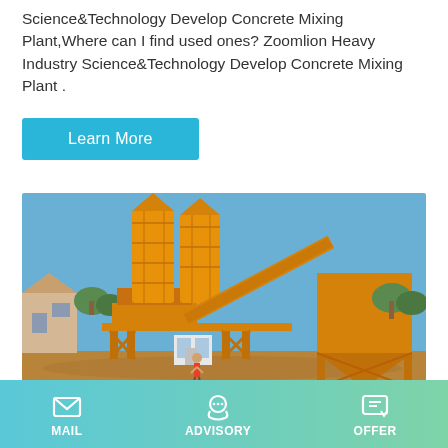Science&Technology Develop Concrete Mixing Plant,Where can I find used ones? Zoomlion Heavy Industry Science&Technology Develop Concrete Mixing Plant .
Learn More
[Figure (photo): Outdoor photo of a large yellow concrete mixing plant with two tall cylindrical silos, conveyor belt system, aggregate batcher, control room cabin, and a person standing near the base. Construction equipment set against a blue sky.]
With Iso9001 Certificate Ready
MAIL  ADVISORY  OFFER